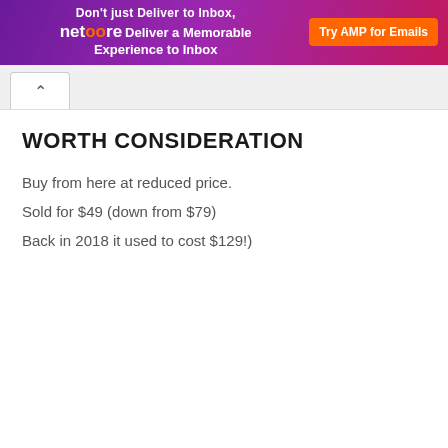[Figure (screenshot): Netcore email marketing banner advertisement with purple/magenta gradient background, 'Don't just Deliver to Inbox,' tagline, Netcore logo, 'Deliver a Memorable Experience to Inbox' text, and orange 'Try AMP for Emails' button]
WORTH CONSIDERATION
Buy from here at reduced price.
Sold for $49 (down from $79)
Back in 2018 it used to cost $129!)